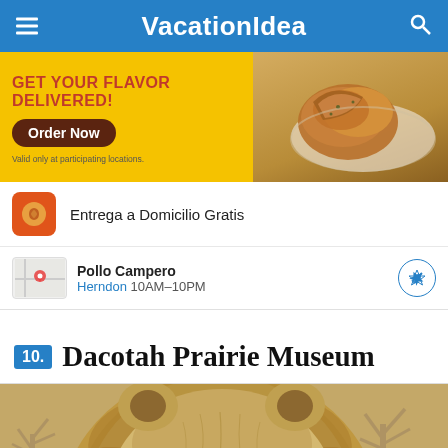VacationIdea
[Figure (photo): Advertisement banner for Pollo Campero: 'GET YOUR FLAVOR DELIVERED!' with Order Now button and food image]
Entrega a Domicilio Gratis
Pollo Campero
Herndon 10AM-10PM
10. Dacotah Prairie Museum
[Figure (photo): Close-up photo of a lion's face (taxidermy/museum display) with savanna backdrop featuring bare trees]